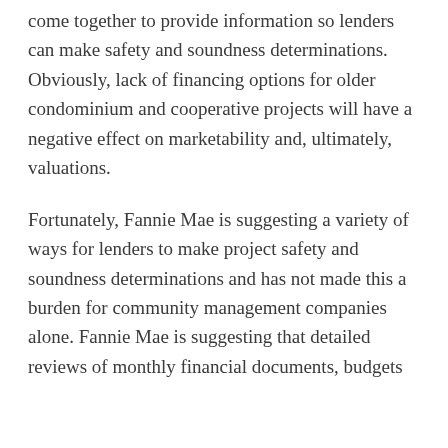come together to provide information so lenders can make safety and soundness determinations. Obviously, lack of financing options for older condominium and cooperative projects will have a negative effect on marketability and, ultimately, valuations.
Fortunately, Fannie Mae is suggesting a variety of ways for lenders to make project safety and soundness determinations and has not made this a burden for community management companies alone. Fannie Mae is suggesting that detailed reviews of monthly financial documents, budgets